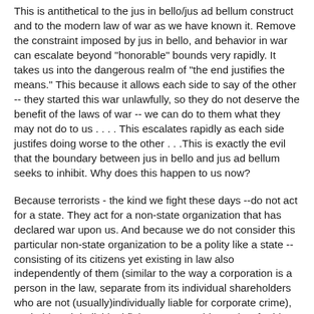This is antithetical to the jus in bello/jus ad bellum construct and to the modern law of war as we have known it. Remove the constraint imposed by jus in bello, and behavior in war can escalate beyond "honorable" bounds very rapidly. It takes us into the dangerous realm of "the end justifies the means." This because it allows each side to say of the other -- they started this war unlawfully, so they do not deserve the benefit of the laws of war -- we can do to them what they may not do to us . . . . This escalates rapidly as each side justifes doing worse to the other . . .This is exactly the evil that the boundary between jus in bello and jus ad bellum seeks to inhibit. Why does this happen to us now?
Because terrorists - the kind we fight these days --do not act for a state. They act for a non-state organization that has declared war upon us. And because we do not consider this particular non-state organization to be a polity like a state -- consisting of its citizens yet existing in law also independently of them (similar to the way a corporation is a person in the law, separate from its individual shareholders who are not (usually)individually liable for corporate crime), we hold each individual fighter accountable not just for his